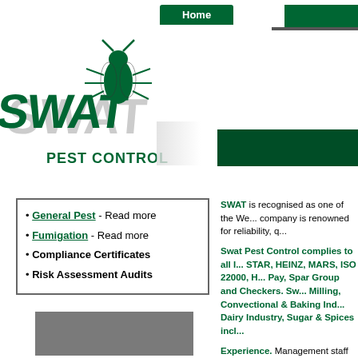Home
[Figure (logo): SWAT Pest Control logo with stylized green text and insect graphic]
General Pest - Read more
Fumigation - Read more
Compliance Certificates
Risk Assessment Audits
SWAT is recognised as one of the We... company is renowned for reliability, q...
Swat Pest Control complies to all I... STAR, HEINZ, MARS, ISO 22000, H... Pay, Spar Group and Checkers. Sw... Milling, Convectional & Baking Ind... Dairy Industry, Sugar & Spices incl...
Experience. Management staff have ... technicians have over 20 years exper...
Training. Technicians do not rest on t... latest developments around the world...
Quality Equipment. By us investing ...